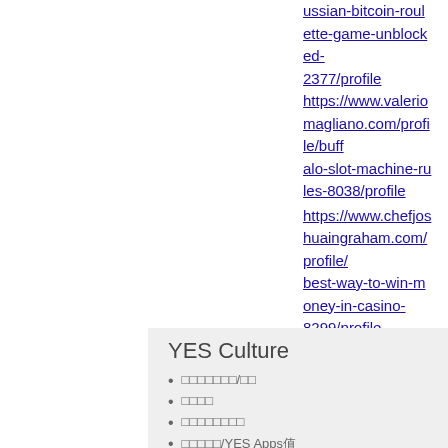ussian-bitcoin-roulette-game-unblocked-2377/profile https://www.valeriomagliano.com/profile/buffalo-slot-machine-rules-8038/profile https://www.chefjoshuaingraham.com/profile/best-way-to-win-money-in-casino-8299/profile
YES Culture
□□□□□□□/□□
□□□□
□□□□□□□□
□□□□□/YES Apps
* □□□□□□
□□□□ □□□□ ©1991-2020 YES Culture Limited All Rights Reserved □□□□□□□□ 地址: □□□□□□□107-109號 ·□□□□□□ □□□□